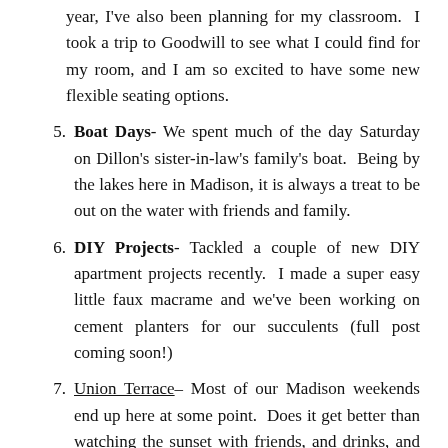year, I've also been planning for my classroom. I took a trip to Goodwill to see what I could find for my room, and I am so excited to have some new flexible seating options.
5. Boat Days- We spent much of the day Saturday on Dillon's sister-in-law's family's boat.  Being by the lakes here in Madison, it is always a treat to be out on the water with friends and family.
6. DIY Projects- Tackled a couple of new DIY apartment projects recently.  I made a super easy little faux macrame and we've been working on cement planters for our succulents (full post coming soon!)
7. Union Terrace– Most of our Madison weekends end up here at some point.  Does it get better than watching the sunset with friends, and drinks, and live music outside?